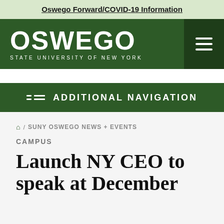Oswego Forward/COVID-19 Information
[Figure (logo): SUNY Oswego logo with white text on dark green background, showing OSWEGO in large letters and STATE UNIVERSITY OF NEW YORK below]
ADDITIONAL NAVIGATION
⌂ / SUNY OSWEGO NEWS + EVENTS
CAMPUS
Launch NY CEO to speak at December